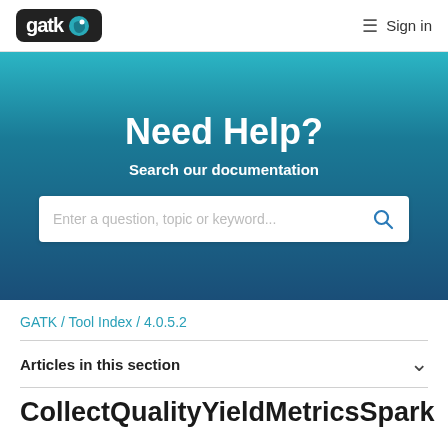gatk [logo] / Sign in
Need Help?
Search our documentation
Enter a question, topic or keyword...
GATK / Tool Index / 4.0.5.2
Articles in this section
CollectQualityYieldMetricsSpark